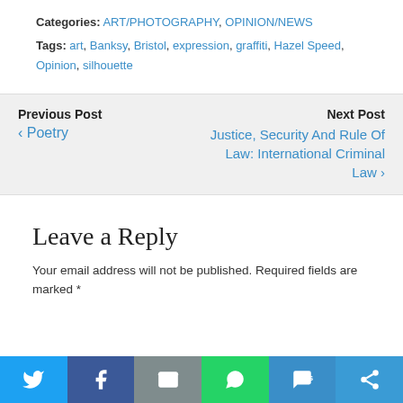Categories: ART/PHOTOGRAPHY, OPINION/NEWS
Tags: art, Banksy, Bristol, expression, graffiti, Hazel Speed, Opinion, silhouette
Previous Post
‹ Poetry
Next Post
Justice, Security And Rule Of Law: International Criminal Law ›
Leave a Reply
Your email address will not be published. Required fields are marked *
[Figure (infographic): Social share bar with Twitter, Facebook, Email, WhatsApp, SMS, and another share button icons]